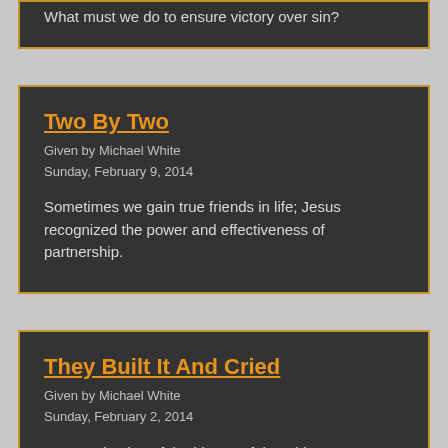What must we do to ensure victory over sin?
Two By Two
Given by Michael White
Sunday, February 9, 2014
Sometimes we gain true friends in life; Jesus recognized the power and effectiveness of partnership.
They Built It And Cried
Given by Michael White
Sunday, February 2, 2014
An examination of the history of the Old Testament temple.
I Am A Debtor